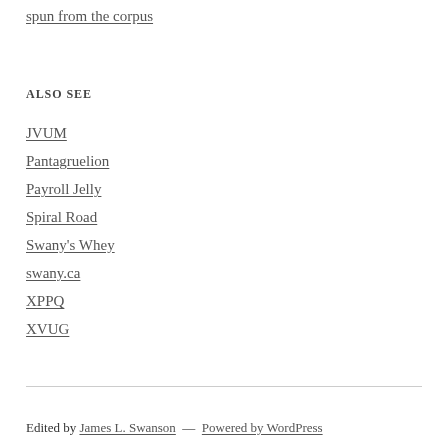spun from the corpus
ALSO SEE
JVUM
Pantagruelion
Payroll Jelly
Spiral Road
Swany's Whey
swany.ca
XPPQ
XVUG
Edited by James L. Swanson — Powered by WordPress